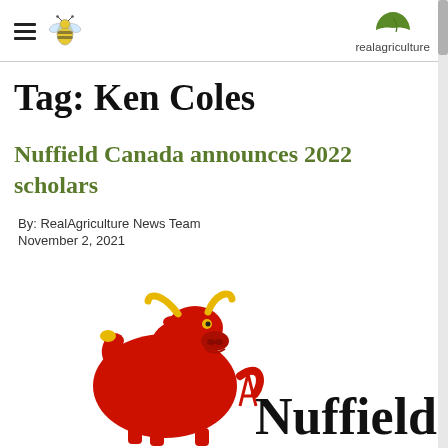realagriculture
Tag: Ken Coles
Nuffield Canada announces 2022 scholars
By: RealAgriculture News Team
November 2, 2021
[Figure (logo): Nuffield Canada logo with red bull mascot and 'Nuffield' text]